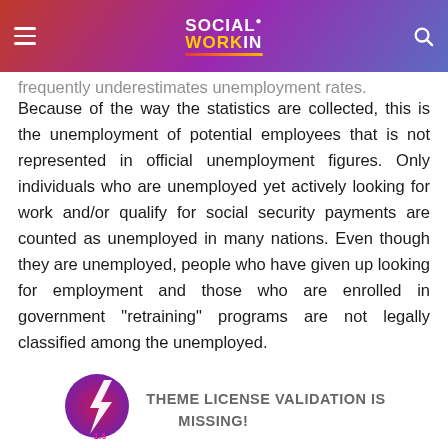SOCIAL WORKIN
frequently underestimates unemployment rates. Because of the way the statistics are collected, this is the unemployment of potential employees that is not represented in official unemployment figures. Only individuals who are unemployed yet actively looking for work and/or qualify for social security payments are counted as unemployed in many nations. Even though they are unemployed, people who have given up looking for employment and those who are enrolled in government "retraining" programs are not legally classified among the unemployed.
[Figure (logo): Theme license validation warning logo - purple/red lightning bolt icon with version 1.6]
THEME LICENSE VALIDATION IS MISSING!